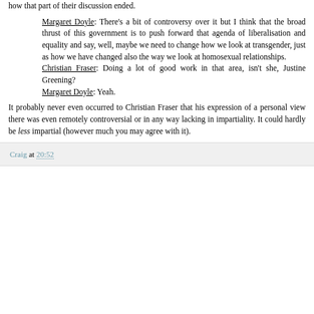how that part of their discussion ended.
Margaret Doyle: There's a bit of controversy over it but I think that the broad thrust of this government is to push forward that agenda of liberalisation and equality and say, well, maybe we need to change how we look at transgender, just as how we have changed also the way we look at homosexual relationships.
Christian Fraser: Doing a lot of good work in that area, isn't she, Justine Greening?
Margaret Doyle: Yeah.
It probably never even occurred to Christian Fraser that his expression of a personal view there was even remotely controversial or in any way lacking in impartiality. It could hardly be less impartial (however much you may agree with it).
Craig at 20:52